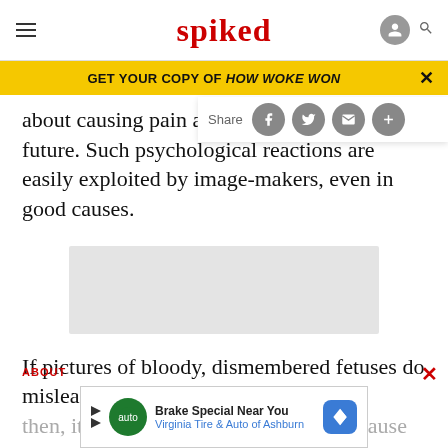spiked
GET YOUR COPY OF HOW WOKE WON
about causing pain and/or depri… future. Such psychological reactions are easily exploited by image-makers, even in good causes.
[Figure (other): Gray advertisement placeholder block]
If pictures of bloody, dismembered fetuses do mislead, then, it is for this subtle reason, not because they enticely… causing
[Figure (other): Brake Special Near You - Virginia Tire & Auto of Ashburn advertisement banner]